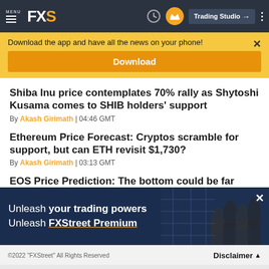MENU FXS | Trading Studio
Download the app and have all the news on your phone!
Download
Shiba Inu price contemplates 70% rally as Shytoshi Kusama comes to SHIB holders' support
By Akash Girimath | 04:46 GMT
Ethereum Price Forecast: Cryptos scramble for support, but can ETH revisit $1,730?
By Akash Girimath | 03:13 GMT
EOS Price Prediction: The bottom could be far
[Figure (screenshot): FXStreet Premium ad banner: Unleash your trading powers Unleash FXStreet Premium with raised fists image]
©2022 "FXStreet" All Rights Reserved | Disclaimer